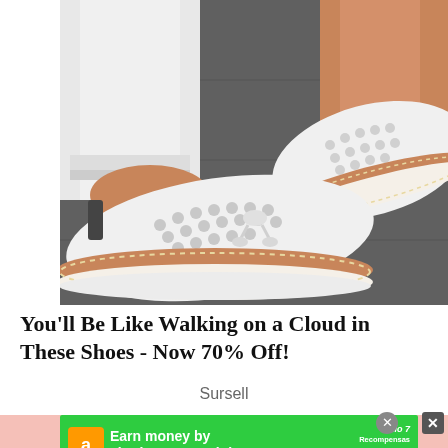[Figure (photo): Close-up photo of a person's feet wearing white casual slip-on shoes with perforated upper, tan cork-style platform sole with cream stitch detail, on a dark pavement surface. The person is wearing white jeans.]
You'll Be Like Walking on a Cloud in These Shoes - Now 70% Off!
Sursell
[Figure (screenshot): Green banner advertisement: 'Earn money by sharing your opinions' with Amazon icon on the left and a 'SIGN UP' button on the right. MiloT Recompensas logo visible. Close button (X circle) visible at top right of banner.]